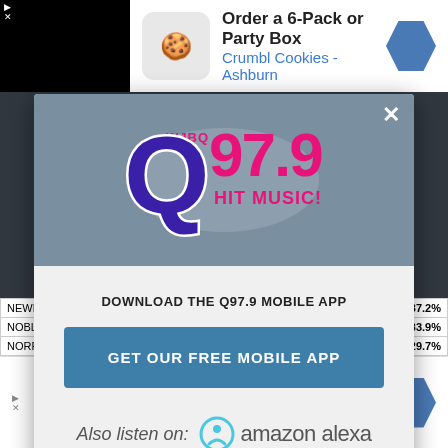[Figure (screenshot): Background webpage with dark overlay showing a radio station website]
[Figure (screenshot): Advertisement banner: Order a 6-Pack or Party Box - Crumbl Cookies - Ashburn]
[Figure (logo): WJBQ Q97.9 Hit Music! radio station logo in purple and pink]
DOWNLOAD THE Q97.9 MOBILE APP
GET OUR FREE MOBILE APP
Also listen on: amazon alexa
|  | 37.2% |
| --- | --- |
| NEWR | 37.2% |
| NOBLE | 33.9% |
| NORPL | 29.7% |
[Figure (screenshot): Advertisement banner at bottom: Order a 6-Pack or Party Box - Crumbl Cookies - Ashburn]